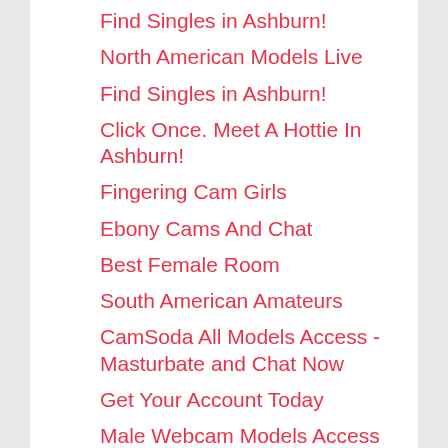Find Singles in Ashburn!
North American Models Live
Find Singles in Ashburn!
Click Once. Meet A Hottie In Ashburn!
Fingering Cam Girls
Ebony Cams And Chat
Best Female Room
South American Amateurs
CamSoda All Models Access - Masturbate and Chat Now
Get Your Account Today
Male Webcam Models Access
Swanky Teens
Nude Fucking Couples
Big And Small Boobs On Live Cam
Pantomimic Girls Show Nude Pussy